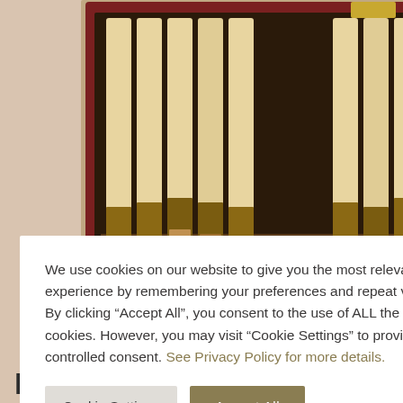[Figure (photo): Top-down photo of a wooden case containing musical instrument reeds (likely oboe or bassoon reeds) arranged in rows, with more instrument supplies visible to the right. Background is a warm beige/tan color.]
We use cookies on our website to give you the most relevant experience by remembering your preferences and repeat visits. By clicking “Accept All”, you consent to the use of ALL the cookies. However, you may visit "Cookie Settings" to provide a controlled consent. See Privacy Policy for more details.
Cookie Settings
Accept All
LOCAL SEO